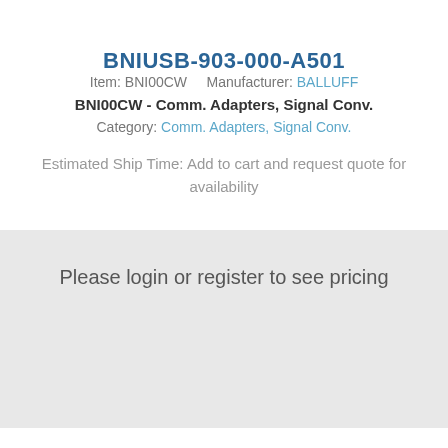BNIUSB-903-000-A501
Item: BNI00CW    Manufacturer: BALLUFF
BNI00CW - Comm. Adapters, Signal Conv.
Category: Comm. Adapters, Signal Conv.
Estimated Ship Time: Add to cart and request quote for availability
Please login or register to see pricing